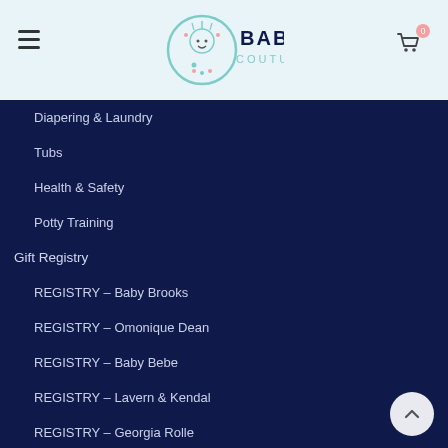Baby Couture - Navigation menu with logo
Diapering & Laundry
Tubs
Health & Safety
Potty Training
Gift Registry
REGISTRY – Baby Brooks
REGISTRY – Omonique Dean
REGISTRY – Baby Bebe
REGISTRY – Lavern & Kendal
REGISTRY – Georgia Rolle
REGISTRY – Baby Royalty
REGISTRY – MEGAN